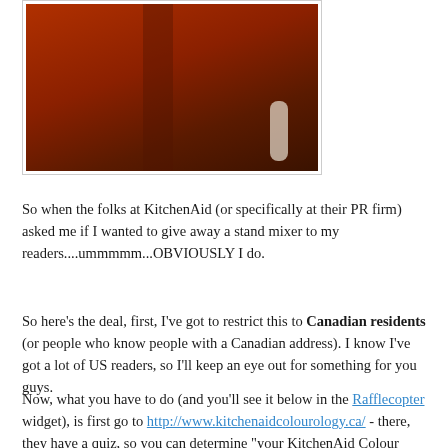[Figure (photo): Close-up photo of a red KitchenAid stand mixer against a neutral background]
So when the folks at KitchenAid (or specifically at their PR firm) asked me if I wanted to give away a stand mixer to my readers....ummmmm...OBVIOUSLY I do.
So here's the deal, first, I've got to restrict this to Canadian residents (or people who know people with a Canadian address).  I know I've got a lot of US readers, so I'll keep an eye out for something for you guys.
Now, what you have to do (and you'll see it below in the Rafflecopter widget), is first go to http://www.kitchenaidcolourology.ca/ - there, they have a quiz, so you can determine "your KitchenAid Colour Personality" (their words, not mine).  After you do the quiz, you need to comment and let me know your "true colour."  I got boysenberry, which is GORGEOUS (I really just want to be able to have all 26 colours because they are sooooo